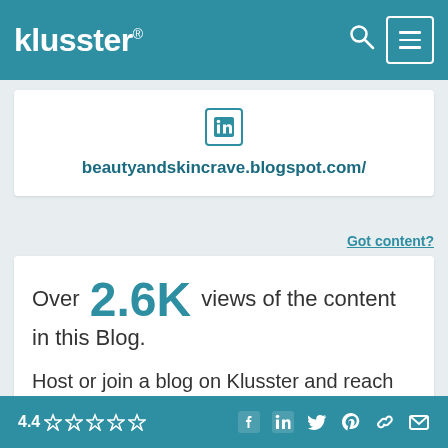klusster®
[Figure (logo): LinkedIn icon (in square border)]
beautyandskincrave.blogspot.com/
Got content?
Over 2.6K views of the content in this Blog.
Host or join a blog on Klusster and reach more people through the power of together!
4.4 ☆☆☆☆☆